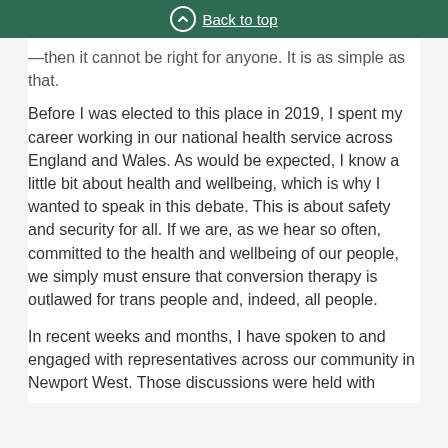Back to top
— then it cannot be right for anyone. It is as simple as that.
Before I was elected to this place in 2019, I spent my career working in our national health service across England and Wales. As would be expected, I know a little bit about health and wellbeing, which is why I wanted to speak in this debate. This is about safety and security for all. If we are, as we hear so often, committed to the health and wellbeing of our people, we simply must ensure that conversion therapy is outlawed for trans people and, indeed, all people.
In recent weeks and months, I have spoken to and engaged with representatives across our community in Newport West. Those discussions were held with